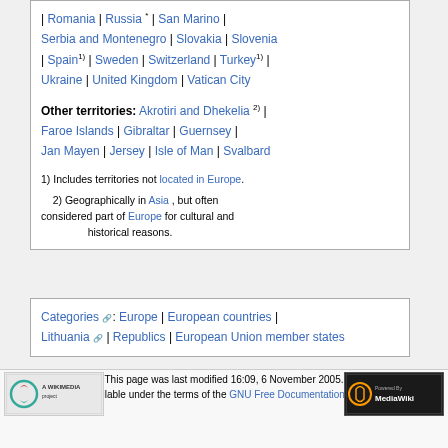| Romania | Russia * | San Marino | Serbia and Montenegro | Slovakia | Slovenia | Spain1) | Sweden | Switzerland | Turkey1) | Ukraine | United Kingdom | Vatican City
Other territories: Akrotiri and Dhekelia 2) | Faroe Islands | Gibraltar | Guernsey | Jan Mayen | Jersey | Isle of Man | Svalbard
1) Includes territories not located in Europe.
2) Geographically in Asia , but often considered part of Europe for cultural and historical reasons.
Categories: Europe | European countries | Lithuania | Republics | European Union member states
This page was last modified 16:09, 6 November 2005.
All text is available under the terms of the GNU Free Documentation License (see